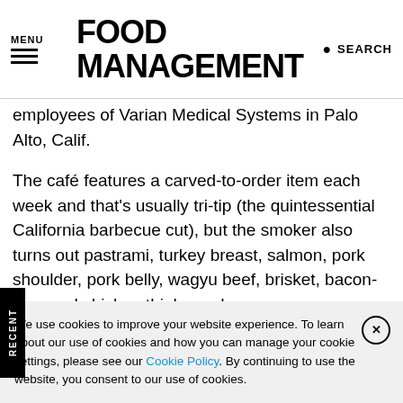MENU | FOOD MANAGEMENT | SEARCH
employees of Varian Medical Systems in Palo Alto, Calif.
The café features a carved-to-order item each week and that's usually tri-tip (the quintessential California barbecue cut), but the smoker also turns out pastrami, turkey breast, salmon, pork shoulder, pork belly, wagyu beef, brisket, bacon-wrapped chicken thighs and more.
Once the meat is carved for a customer, it can become part of
We use cookies to improve your website experience. To learn about our use of cookies and how you can manage your cookie settings, please see our Cookie Policy. By continuing to use the website, you consent to our use of cookies.